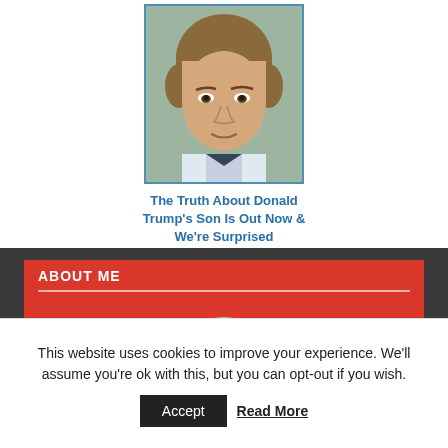[Figure (photo): Photo of a young boy with brown hair wearing a suit, cropped portrait shot]
The Truth About Donald Trump's Son Is Out Now & We're Surprised
ABOUT ME
[Figure (illustration): Partial avatar/profile icon at bottom of red About Me sidebar box]
This website uses cookies to improve your experience. We'll assume you're ok with this, but you can opt-out if you wish.
Accept  Read More